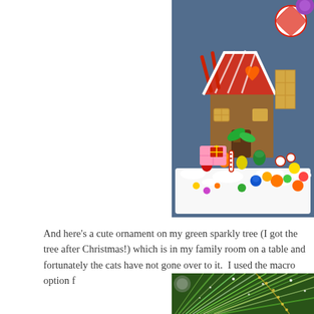[Figure (photo): A colorful gingerbread house decorated with various candies including gumdrops, candy canes, peppermints, wafer cookies, and white icing, set on a white base against a blue background.]
And here's a cute ornament on my green sparkly tree (I got the tree after Christmas!) which is in my family room on a table and fortunately the cats have not gone over to it.  I used the macro option f
[Figure (photo): Close-up photo of a green sparkly/metallic artificial Christmas tree with iridescent tinsel strands catching light, showing shimmer and sparkle effects.]